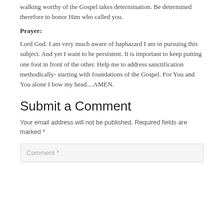walking worthy of the Gospel takes determination.  Be determined therefore to honor Him who called you.
Prayer:
Lord God.  I am very much aware of haphazard I am in pursuing this subject.  And yet I want to be persistent.  It is important to keep putting one foot in front of the other.  Help me to address sanctification methodically- starting with foundations of the Gospel.  For You and You alone I bow my head....AMEN.
Submit a Comment
Your email address will not be published. Required fields are marked *
Comment *